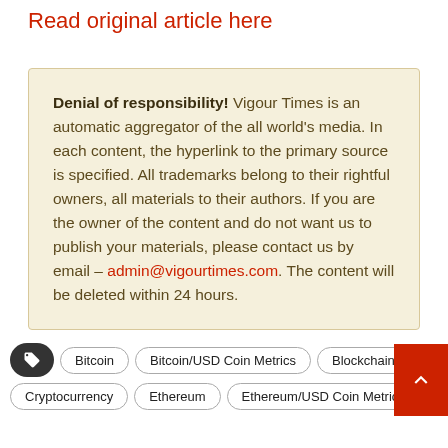Read original article here
Denial of responsibility! Vigour Times is an automatic aggregator of the all world's media. In each content, the hyperlink to the primary source is specified. All trademarks belong to their rightful owners, all materials to their authors. If you are the owner of the content and do not want us to publish your materials, please contact us by email – admin@vigourtimes.com. The content will be deleted within 24 hours.
Bitcoin
Bitcoin/USD Coin Metrics
Blockchain
business news
Cryptocurrency
Ethereum
Ethereum/USD Coin Metrics
Markets